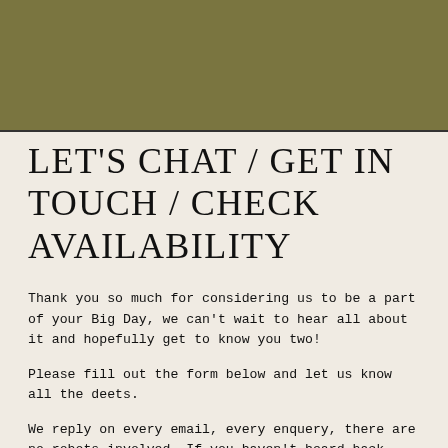[Figure (other): Olive/khaki colored banner rectangle at top of page]
LET'S CHAT / GET IN TOUCH / CHECK AVAILABILITY
Thank you so much for considering us to be a part of your Big Day, we can't wait to hear all about it and hopefully get to know you two!
Please fill out the form below and let us know all the deets.
We reply on every email, every enquery, there are no robots involved. If you haven't heard back from us within 24 hours please check your spam folder or get in touch via our email acrosstheforestau@gmail.com